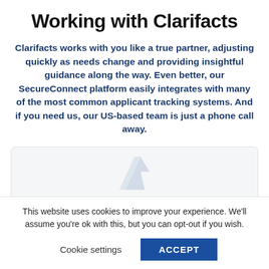Working with Clarifacts
Clarifacts works with you like a true partner, adjusting quickly as needs change and providing insightful guidance along the way. Even better, our SecureConnect platform easily integrates with many of the most common applicant tracking systems. And if you need us, our US-based team is just a phone call away.
[Figure (logo): Clarifacts logo mark — stylized angular shape in light blue/grey]
This website uses cookies to improve your experience. We'll assume you're ok with this, but you can opt-out if you wish.
Cookie settings   ACCEPT